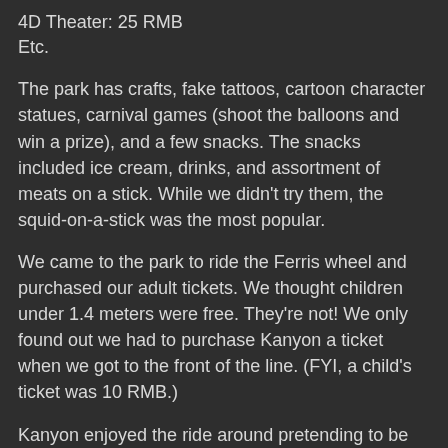4D Theater: 25 RMB
Etc.
The park has crafts, fake tattoos, cartoon character statues, carnival games (shoot the balloons and win a prize), and a few snacks. The snacks included ice cream, drinks, and assortment of meats on a stick. While we didn't try them, the squid-on-a-stick was the most popular.
We came to the park to ride the Ferris wheel and purchased our adult tickets. We thought children under 1.4 meters were free. They're not! We only found out we had to purchase Kanyon a ticket when we got to the front of the line. (FYI, a child's ticket was 10 RMB.)
Kanyon enjoyed the ride around pretending to be Superman as we went up-up-up. It was an amazingly new view of Harbin as we rode to the top of the Ferris wheel. We saw a bird's eye view of our campus, the river, and a Confucian temple/park we'll check out next time. At times M'Lynn was a little nervous by the sounds coming from outside our compartment, but was unable to express her feelings